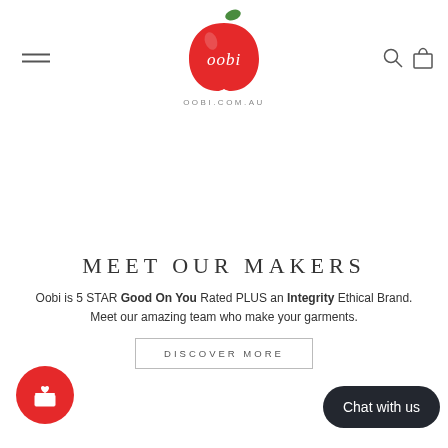[Figure (logo): Oobi apple logo with text OOBI.COM.AU below]
MEET OUR MAKERS
Oobi is 5 STAR Good On You Rated PLUS an Integrity Ethical Brand. Meet our amazing team who make your garments.
DISCOVER MORE
[Figure (other): Red circular gift/reward button icon]
Chat with us